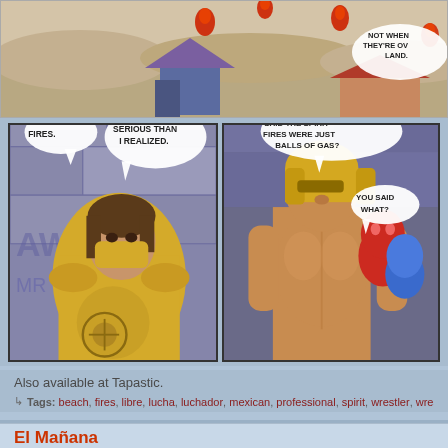[Figure (illustration): Top panel of a comic strip showing a desert/sandy landscape with houses and red flame-like spirits floating above. A partially visible speech bubble on the right reads 'NOT WHEN THEY'RE OV... LAND.']
[Figure (illustration): Comic panel showing a character in yellow robes and face mask with two speech bubbles: 'SPIRIT FIRES.' and 'THIS IS MORE SERIOUS THAN I REALIZED.']
[Figure (illustration): Comic panel showing a muscular shirtless character wearing a gold helmet/mask and another character with a red mask. Speech bubbles: 'BUT WAIT, YOU SAID THE SPIRIT FIRES WERE JUST BALLS OF GAS?' and 'YOU SAID WHAT?']
[Figure (illustration): Partially visible third panel showing another character, with a speech bubble reading 'NOT WHEN THEY'RE OV... LAND.']
Also available at Tapastic.
Tags: beach, fires, libre, lucha, luchador, mexican, professional, spirit, wrestler, wrestli...